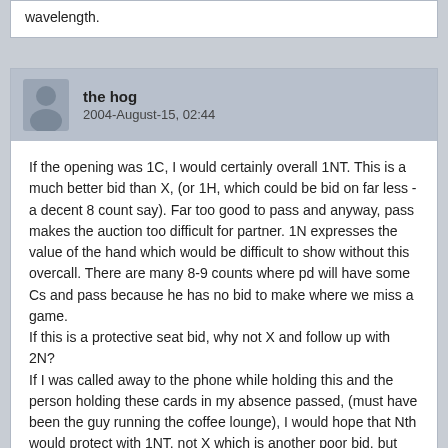wavelength.
the hog
2004-August-15, 02:44
If the opening was 1C, I would certainly overall 1NT. This is a much better bid than X, (or 1H, which could be bid on far less - a decent 8 count say). Far too good to pass and anyway, pass makes the auction too difficult for partner. 1N expresses the value of the hand which would be difficult to show without this overcall. There are many 8-9 counts where pd will have some Cs and pass because he has no bid to make where we miss a game.
If this is a protective seat bid, why not X and follow up with 2N?
If I was called away to the phone while holding this and the person holding these cards in my absence passed, (must have been the guy running the coffee lounge), I would hope that Nth would protect with 1NT, not X which is another poor bid, but this is not likely with such sterile disribution and a rubbishy ten count, (we play 1N here as 11-14, and you don't need a stopper of course).